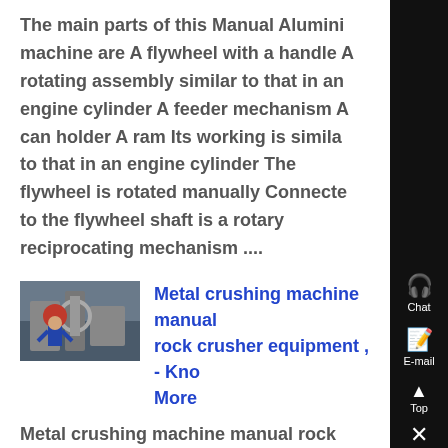The main parts of this Manual Aluminium machine are A flywheel with a handle A rotating assembly similar to that in an engine cylinder A feeder mechanism A can holder A ram Its working is similar to that in an engine cylinder The flywheel is rotated manually Connected to the flywheel shaft is a rotary reciprocating mechanism ....
[Figure (photo): Thumbnail image of metal crushing/industrial machinery with a worker wearing a red hard hat]
Metal crushing machine manual rock crusher equipment , - Know More
Metal crushing machine manual rock crusher equipment manufacturer in